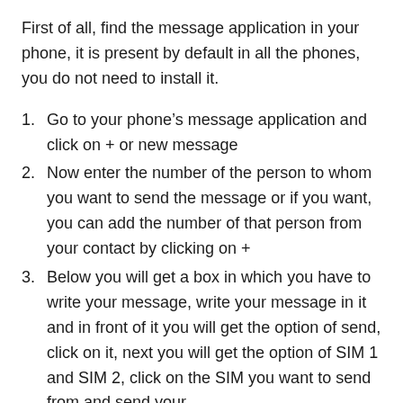First of all, find the message application in your phone, it is present by default in all the phones, you do not need to install it.
Go to your phone's message application and click on + or new message
Now enter the number of the person to whom you want to send the message or if you want, you can add the number of that person from your contact by clicking on +
Below you will get a box in which you have to write your message, write your message in it and in front of it you will get the option of send, click on it, next you will get the option of SIM 1 and SIM 2, click on the SIM you want to send from and send your